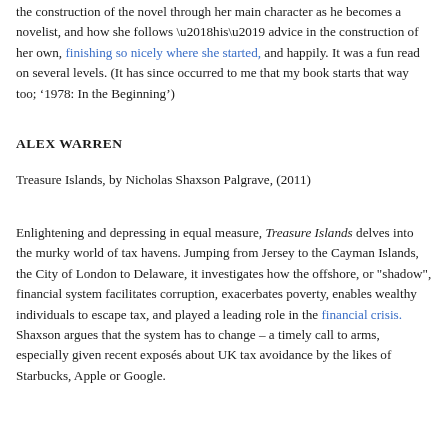the construction of the novel through her main character as he becomes a novelist, and how she follows ‘his’ advice in the construction of her own, finishing so nicely where she started, and happily. It was a fun read on several levels. (It has since occurred to me that my book starts that way too; ‘1978: In the Beginning’)
ALEX WARREN
Treasure Islands, by Nicholas Shaxson Palgrave, (2011)
Enlightening and depressing in equal measure, Treasure Islands delves into the murky world of tax havens. Jumping from Jersey to the Cayman Islands, the City of London to Delaware, it investigates how the offshore, or "shadow", financial system facilitates corruption, exacerbates poverty, enables wealthy individuals to escape tax, and played a leading role in the financial crisis. Shaxson argues that the system has to change – a timely call to arms, especially given recent exposés about UK tax avoidance by the likes of Starbucks, Apple or Google.